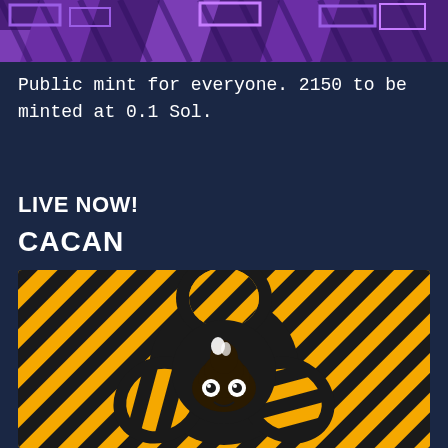[Figure (illustration): Purple and dark abstract geometric/tribal pattern banner image at the top of the page]
Public mint for everyone. 2150 to be minted at 0.1 Sol.
LIVE NOW!
CACAN
[Figure (illustration): Black and yellow striped hazard/biohazard symbol style illustration with a cartoon poop emoji character in the center on dark background]